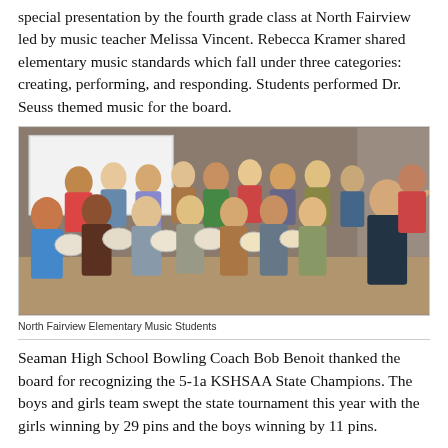special presentation by the fourth grade class at North Fairview led by music teacher Melissa Vincent. Rebecca Kramer shared elementary music standards which fall under three categories: creating, performing, and responding. Students performed Dr. Seuss themed music for the board.
[Figure (photo): Photo of North Fairview Elementary music students holding tambourines/drums, performing in a room with a teacher conducting at right, parents and other students in the background.]
North Fairview Elementary Music Students
Seaman High School Bowling Coach Bob Benoit thanked the board for recognizing the 5-1a KSHSAA State Champions. The boys and girls team swept the state tournament this year with the girls winning by 29 pins and the boys winning by 11 pins.